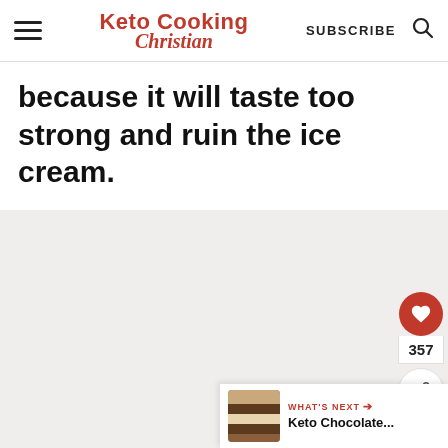Keto Cooking Christian | SUBSCRIBE
because it will taste too strong and ruin the ice cream.
[Figure (photo): Food photo area - gray placeholder image region]
357
WHAT'S NEXT → Keto Chocolate...